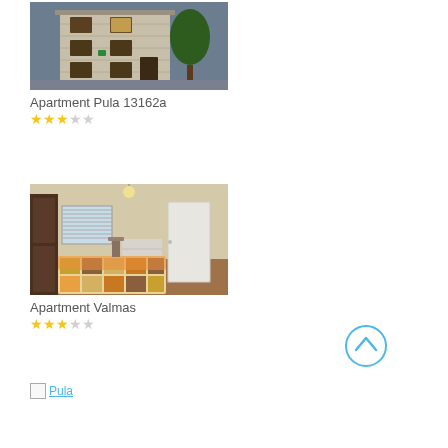[Figure (photo): Exterior photo of a stone building - Apartment Pula 13162a]
Apartment Pula 13162a
★★★☆☆ (3 out of 5 stars)
[Figure (photo): Interior bedroom photo - Apartment Valmas]
Apartment Valmas
★★★☆☆ (3 out of 5 stars)
[Figure (other): Broken image placeholder labeled Pula]
[Figure (other): Back to top circular arrow button]